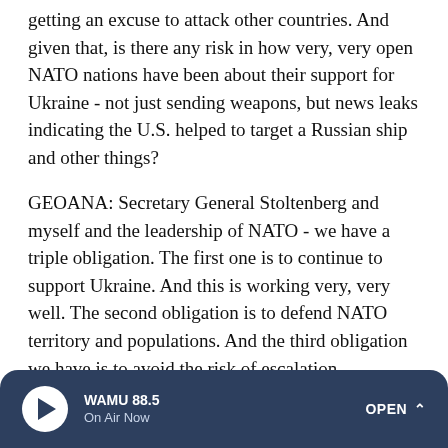getting an excuse to attack other countries. And given that, is there any risk in how very, very open NATO nations have been about their support for Ukraine - not just sending weapons, but news leaks indicating the U.S. helped to target a Russian ship and other things?
GEOANA: Secretary General Stoltenberg and myself and the leadership of NATO - we have a triple obligation. The first one is to continue to support Ukraine. And this is working very, very well. The second obligation is to defend NATO territory and populations. And the third obligation we have is to avoid the risk of escalation...
INSKEEP: There we go.
WAMU 88.5 On Air Now OPEN